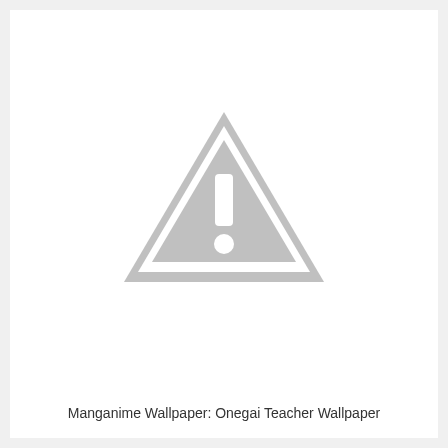[Figure (illustration): A grey warning triangle with a white exclamation mark (! with dot) in the center, displayed as a placeholder/missing image icon on a white background.]
Manganime Wallpaper: Onegai Teacher Wallpaper